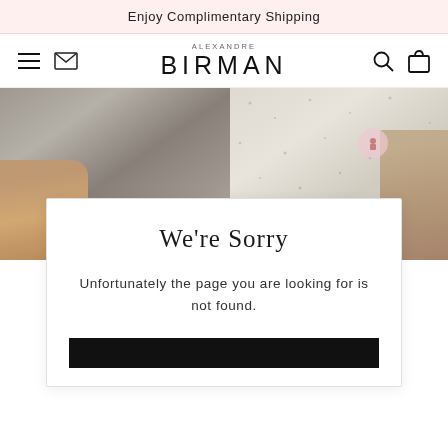Enjoy Complimentary Shipping
[Figure (screenshot): Alexandre Birman website navigation bar with hamburger menu, envelope/newsletter icon on the left, ALEXANDRE BIRMAN logo in center, search and bag icons on the right]
[Figure (photo): Split background image: left half shows grey marble/stone texture with two-tone gold/bronze shoes visible at bottom, right half shows light speckled stone/terrazzo texture with a beige/tan shoe visible on right edge]
We're Sorry
Unfortunately the page you are looking for is not found.